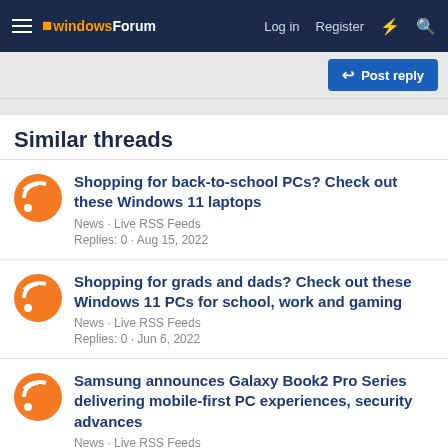windowsForum  Log in  Register
Post reply
Similar threads
Shopping for back-to-school PCs? Check out these Windows 11 laptops
News · Live RSS Feeds
Replies: 0 · Aug 15, 2022
Shopping for grads and dads? Check out these Windows 11 PCs for school, work and gaming
News · Live RSS Feeds
Replies: 0 · Jun 6, 2022
Samsung announces Galaxy Book2 Pro Series delivering mobile-first PC experiences, security advances
News · Live RSS Feeds